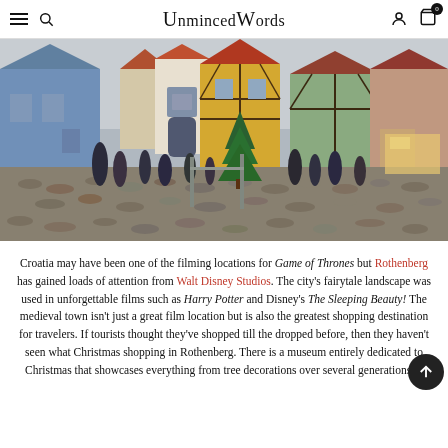UnmincedWords
[Figure (photo): Cobblestone street in Rothenberg, Germany with colorful half-timbered medieval buildings, a clock tower gate, pedestrians walking, and a decorated Christmas tree in the center.]
Croatia may have been one of the filming locations for Game of Thrones but Rothenberg has gained loads of attention from Walt Disney Studios. The city’s fairytale landscape was used in unforgettable films such as Harry Potter and Disney’s The Sleeping Beauty! The medieval town isn’t just a great film location but is also the greatest shopping destination for travelers. If tourists thought they’ve shopped till the dropped before, then they haven’t seen what Christmas shopping in Rothenberg. There is a museum entirely dedicated to Christmas that showcases everything from tree decorations over several generations to